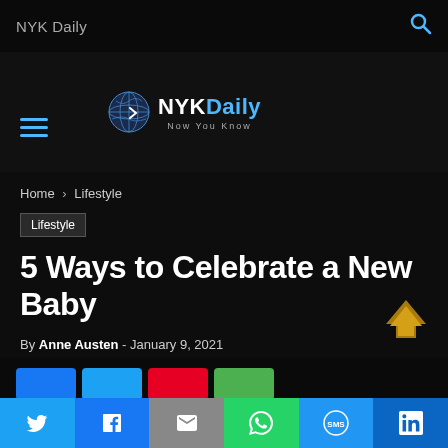NYK Daily
[Figure (logo): NYK Daily logo with globe icon, text 'NYKDaily Now You Know']
Home › Lifestyle
Lifestyle
5 Ways to Celebrate a New Baby
By Anne Austen - January 9, 2021